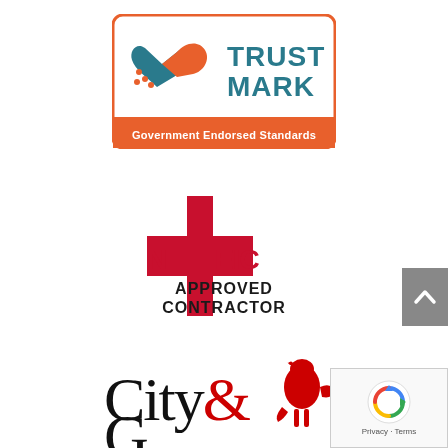[Figure (logo): TrustMark Government Endorsed Standards logo — handshake icon with orange and teal coloring, orange border rectangle, white text 'Government Endorsed Standards' on orange banner]
[Figure (logo): NICEIC Approved Contractor logo — crimson cross/plus shape with NICEIC text and 'APPROVED CONTRACTOR' text in bold black]
[Figure (logo): City & Guilds logo — black serif 'City&' text with red heraldic lion, partially visible at bottom of page]
[Figure (other): Grey scroll-to-top button with upward chevron arrow]
[Figure (other): Google reCAPTCHA badge — circular arrows logo with 'Privacy · Terms' text]